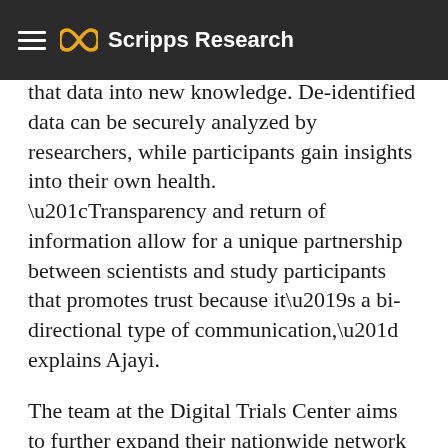enables researchers and participants to gather valuable health data and translate that data into new knowledge. De-identified data can be securely analyzed by researchers, while participants gain insights into their own health. “Transparency and return of information allow for a unique partnership between scientists and study participants that promotes trust because it’s a bi-directional type of communication,” explains Ajayi.
Scripps Research
The team at the Digital Trials Center aims to further expand their nationwide network of partners, enabling many more studies into different aspects of maternal